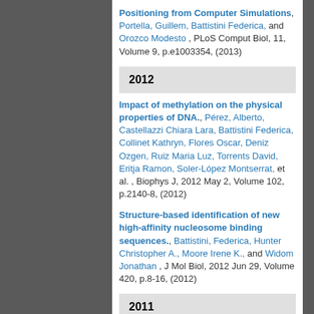Positioning from Computer Simulations, Portella, Guillem, Battistini Federica, and Orozco Modesto , PLoS Comput Biol, 11, Volume 9, p.e1003354, (2013)
2012
Impact of methylation on the physical properties of DNA., Pérez, Alberto, Castellazzi Chiara Lara, Battistini Federica, Collinet Kathryn, Flores Oscar, Deniz Ozgen, Ruiz Maria Luz, Torrents David, Eritja Ramon, Soler-López Montserrat, et al. , Biophys J, 2012 May 2, Volume 102, p.2140-8, (2012)
Structure-based identification of new high-affinity nucleosome binding sequences., Battistini, Federica, Hunter Christopher A., Moore Irene K., and Widom Jonathan , J Mol Biol, 2012 Jun 29, Volume 420, p.8-16, (2012)
2011